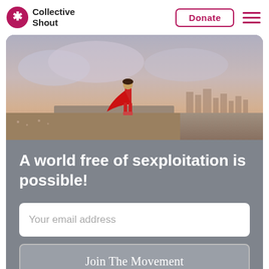[Figure (logo): Collective Shout logo with asterisk-star icon and text 'Collective Shout']
Donate
[Figure (illustration): Child in red superhero cape standing on a ledge looking out over a city skyline at sunset]
A world free of sexploitation is possible!
Your email address
Join The Movement